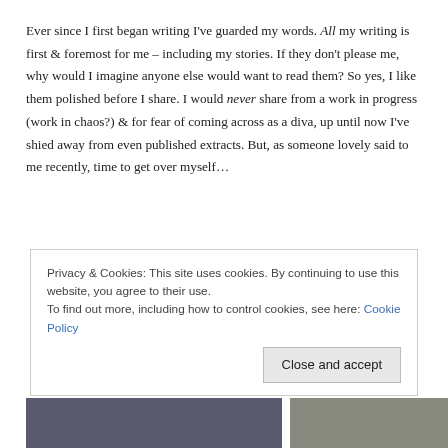Ever since I first began writing I've guarded my words. All my writing is first & foremost for me – including my stories. If they don't please me, why would I imagine anyone else would want to read them? So yes, I like them polished before I share. I would never share from a work in progress (work in chaos?) & for fear of coming across as a diva, up until now I've shied away from even published extracts. But, as someone lovely said to me recently, time to get over myself…
Privacy & Cookies: This site uses cookies. By continuing to use this website, you agree to their use.
To find out more, including how to control cookies, see here: Cookie Policy
[Close and accept]
[Figure (photo): Partial photo strip at bottom of page, partially obscured by cookie banner]